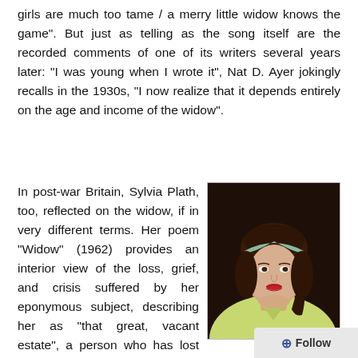girls are much too tame / a merry little widow knows the game". But just as telling as the song itself are the recorded comments of one of its writers several years later: "I was young when I wrote it", Nat D. Ayer jokingly recalls in the 1930s, "I now realize that it depends entirely on the age and income of the widow".
In post-war Britain, Sylvia Plath, too, reflected on the widow, if in very different terms. Her poem “Widow” (1962) provides an interior view of the loss, grief, and crisis suffered by her eponymous subject, describing her as “that great, vacant estate”, a person who has lost their identity, “a shadow-thing”, rendered empty of meaning. The loss of a husband signifies the wor…
[Figure (photo): Colorized vintage photograph of a young woman (Sylvia Plath) with dark hair, wearing a light green top and a headband, looking slightly to the side with a faint smile, against a dark background.]